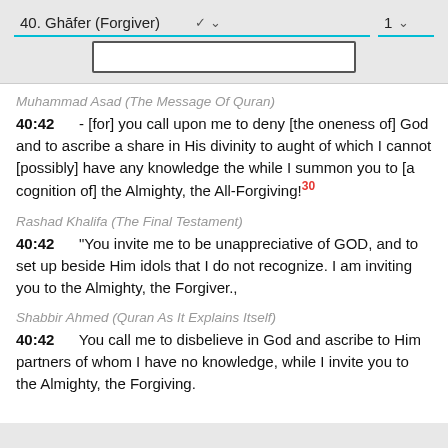40. Ghāfer (Forgiver)  ▾   1  ▾
Muhammad Asad (The Message Of Quran)
40:42    - [for] you call upon me to deny [the oneness of] God and to ascribe a share in His divinity to aught of which I cannot [possibly] have any knowledge the while I summon you to [a cognition of] the Almighty, the All-Forgiving!30
Rashad Khalifa (The Final Testament)
40:42    "You invite me to be unappreciative of GOD, and to set up beside Him idols that I do not recognize. I am inviting you to the Almighty, the Forgiver.,
Shabbir Ahmed (Quran As It Explains Itself)
40:42    You call me to disbelieve in God and ascribe to Him partners of whom I have no knowledge, while I invite you to the Almighty, the Forgiving.